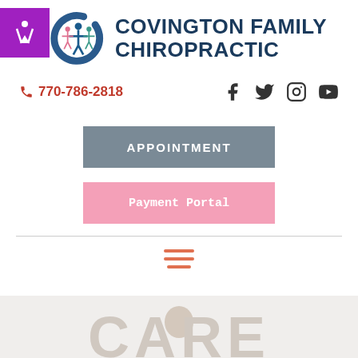[Figure (logo): Covington Family Chiropractic logo with circular icon showing stylized figures and C shape in blue/teal/pink, alongside bold navy text reading COVINGTON FAMILY CHIROPRACTIC]
770-786-2818
[Figure (infographic): Social media icons: Facebook, Twitter, Instagram, YouTube in dark grey]
APPOINTMENT
Payment Portal
[Figure (infographic): Hamburger menu icon with three horizontal lines in terracotta/salmon color]
CARE...